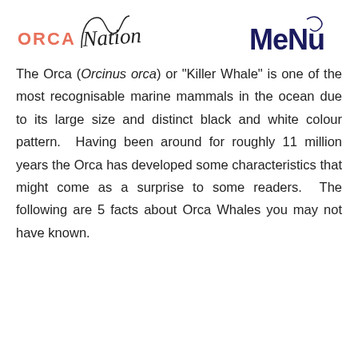ORCA Nation  Menu
The Orca (Orcinus orca) or "Killer Whale" is one of the most recognisable marine mammals in the ocean due to its large size and distinct black and white colour pattern. Having been around for roughly 11 million years the Orca has developed some characteristics that might come as a surprise to some readers. The following are 5 facts about Orca Whales you may not have known.